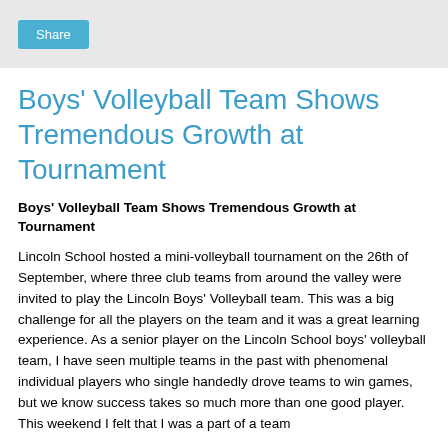Share
Boys' Volleyball Team Shows Tremendous Growth at Tournament
Boys' Volleyball Team Shows Tremendous Growth at Tournament
Lincoln School hosted a mini-volleyball tournament on the 26th of September, where three club teams from around the valley were invited to play the Lincoln Boys' Volleyball team. This was a big challenge for all the players on the team and it was a great learning experience. As a senior player on the Lincoln School boys' volleyball team, I have seen multiple teams in the past with phenomenal individual players who single handedly drove teams to win games, but we know success takes so much more than one good player. This weekend I felt that I was a part of a team